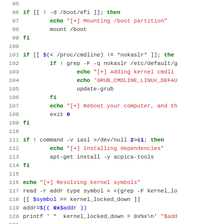[Figure (screenshot): Shell script source code with syntax highlighting, lines 95-121. Shows bash script fragments checking for EFI boot directory, kernel command line parameters, IASL command, and resolving kernel symbols.]